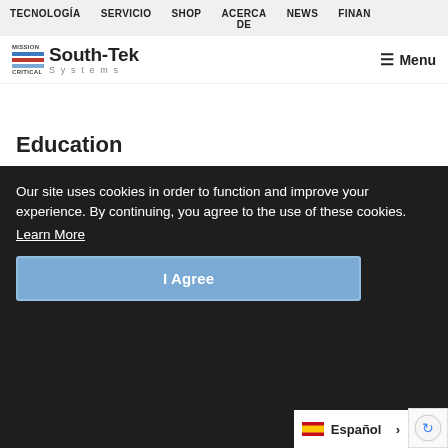TECNOLOGÍA   SERVICIO   SHOP   ACERCA DE   NEWS   FINAN…
[Figure (logo): South-Tek Systems logo with blue/red/gray horizontal stripes and Mission Critical text]
Menu
Education
Our site uses cookies in order to function and improve your experience. By continuing, you agree to the use of these cookies.
Learn More
I Agree
Español >
2018 by